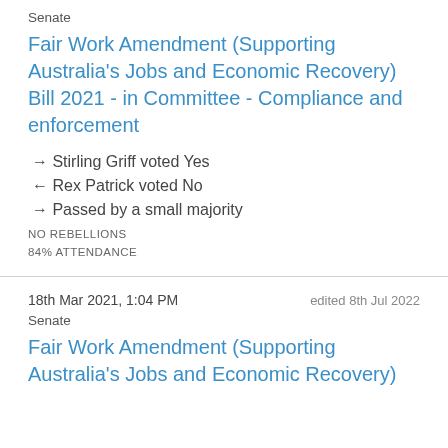Senate
Fair Work Amendment (Supporting Australia's Jobs and Economic Recovery) Bill 2021 - in Committee - Compliance and enforcement
→ Stirling Griff voted Yes
← Rex Patrick voted No
→ Passed by a small majority
NO REBELLIONS
84% ATTENDANCE
18th Mar 2021, 1:04 PM
edited 8th Jul 2022
Senate
Fair Work Amendment (Supporting Australia's Jobs and Economic Recovery)